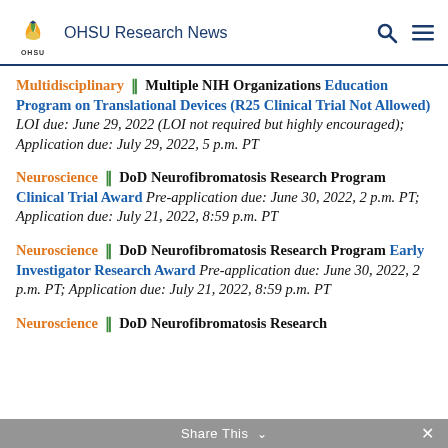OHSU Research News
Multidisciplinary || Multiple NIH Organizations Education Program on Translational Devices (R25 Clinical Trial Not Allowed) LOI due: June 29, 2022 (LOI not required but highly encouraged); Application due: July 29, 2022, 5 p.m. PT
Neuroscience || DoD Neurofibromatosis Research Program Clinical Trial Award Pre-application due: June 30, 2022, 2 p.m. PT; Application due: July 21, 2022, 8:59 p.m. PT
Neuroscience || DoD Neurofibromatosis Research Program Early Investigator Research Award Pre-application due: June 30, 2022, 2 p.m. PT; Application due: July 21, 2022, 8:59 p.m. PT
Neuroscience || DoD Neurofibromatosis Research
Share This ×